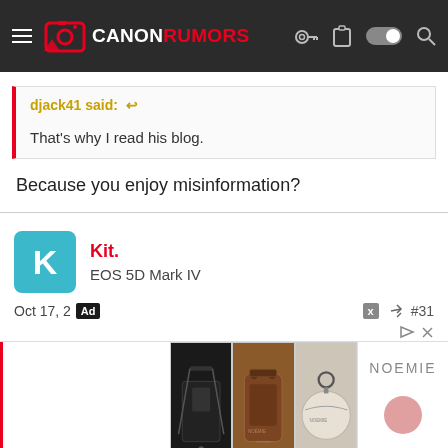CANONRUMORS
djack41 said: ↩
That's why I read his blog.
Because you enjoy misinformation?
Kit.
EOS 5D Mark IV
Oct 17, 2... Ad
#31
djack4...
That's...
[Figure (photo): Advertisement showing three leather bag/case products from NOEMIE brand: a black crossbody phone bag, a brown leather phone case, and a round white coin purse.]
Advertisement
Ok, here you got four level...